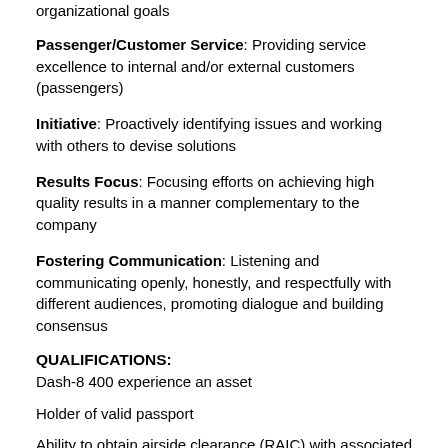organizational goals
Passenger/Customer Service: Providing service excellence to internal and/or external customers (passengers)
Initiative: Proactively identifying issues and working with others to devise solutions
Results Focus: Focusing efforts on achieving high quality results in a manner complementary to the company
Fostering Communication: Listening and communicating openly, honestly, and respectfully with different audiences, promoting dialogue and building consensus
QUALIFICATIONS:
Dash-8 400 experience an asset
Holder of valid passport
Ability to obtain airside clearance (RAIC) with associated background checks